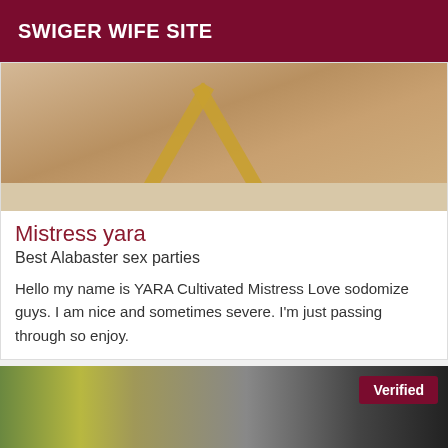SWIGER WIFE SITE
[Figure (photo): Photo showing a person's legs and feet near a gold cross-legged table on a light floor]
Mistress yara
Best Alabaster sex parties
Hello my name is YARA Cultivated Mistress Love sodomize guys. I am nice and sometimes severe. I'm just passing through so enjoy.
[Figure (photo): Mirror selfie photo of a woman in black lace top, with a Verified badge in the top-right corner]